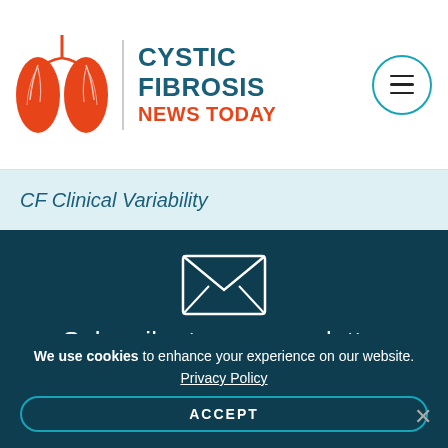[Figure (logo): Cystic Fibrosis News Today logo with red lungs illustration and teal/red text]
CF Clinical Variability
Subscribe to our newsletter
Get regular updates to your inbox.
Your Email
Email Address
We use cookies to enhance your experience on our website.
Privacy Policy
ACCEPT